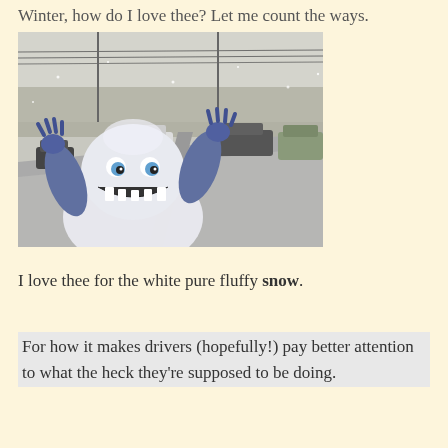Winter, how do I love thee?  Let me count the ways.
[Figure (photo): A snowy road with cars in traffic; a cartoon Abominable Snowman monster figure is superimposed in the foreground with arms raised and mouth open, on a grey snowy winter highway scene.]
I love thee for the white pure fluffy snow.
For how it makes drivers (hopefully!) pay better attention to what the heck they're supposed to be doing.